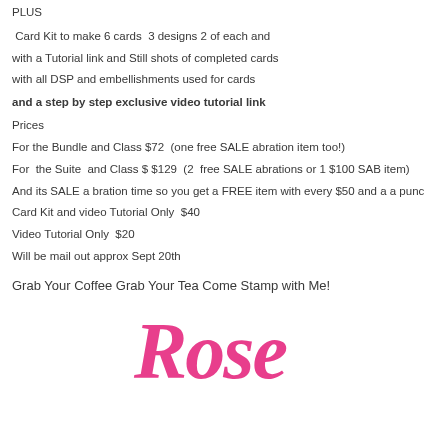PLUS
Card Kit to make 6 cards  3 designs 2 of each and
with a Tutorial link and Still shots of completed cards
with all DSP and embellishments used for cards
and a step by step exclusive video tutorial link
Prices
For the Bundle and Class $72  (one free SALE abration item too!)
For  the Suite  and Class $ $129  (2  free SALE abrations or 1 $100 SAB item)
And its SALE a bration time so you get a FREE item with every $50 and a a punc
Card Kit and video Tutorial Only  $40
Video Tutorial Only  $20
Will be mail out approx Sept 20th
Grab Your Coffee Grab Your Tea Come Stamp with Me!
[Figure (illustration): Cursive script signature reading 'Rose' in pink/hot pink color]